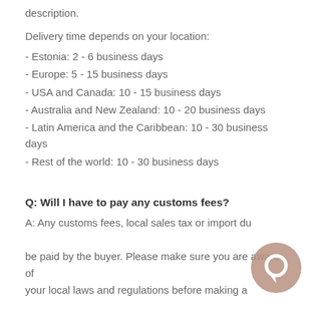description.
Delivery time depends on your location:
- Estonia: 2 - 6 business days
- Europe: 5 - 15 business days
- USA and Canada: 10 - 15 business days
- Australia and New Zealand: 10 - 20 business days
- Latin America and the Caribbean: 10 - 30 business days
- Rest of the world: 10 - 30 business days
Q: Will I have to pay any customs fees?
A: Any customs fees, local sales tax or import du... be paid by the buyer. Please make sure you are aware of your local laws and regulations before making a